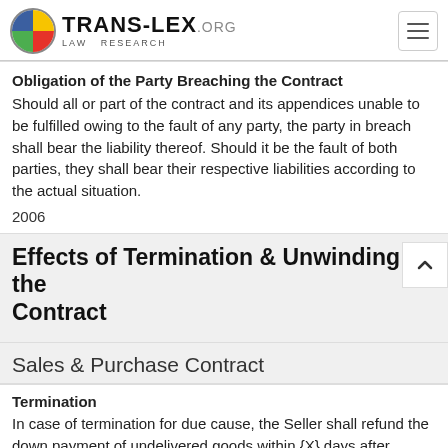TRANS-LEX.ORG LAW RESEARCH
Obligation of the Party Breaching the Contract
Should all or part of the contract and its appendices unable to be fulfilled owing to the fault of any party, the party in breach shall bear the liability thereof. Should it be the fault of both parties, they shall bear their respective liabilities according to the actual situation.
2006
Effects of Termination & Unwinding the Contract
Sales & Purchase Contract
Termination
In case of termination for due cause, the Seller shall refund the down payment of undelivered goods within {X} days after receipt notice of termination for due cause issued by the Buyer.